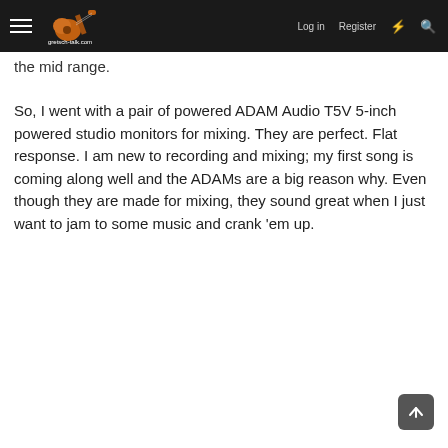gretsch-talk.com | Log in | Register
the mid range.
So, I went with a pair of powered ADAM Audio T5V 5-inch powered studio monitors for mixing. They are perfect. Flat response. I am new to recording and mixing; my first song is coming along well and the ADAMs are a big reason why. Even though they are made for mixing, they sound great when I just want to jam to some music and crank 'em up.